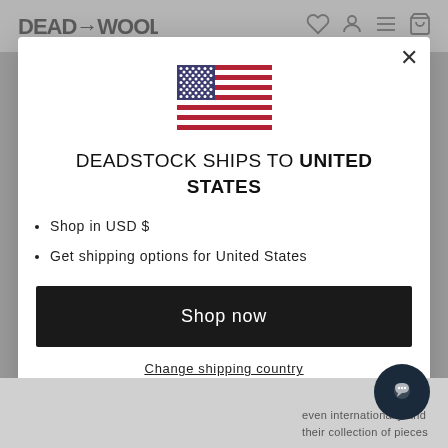[Figure (screenshot): Website header background with Deadstock logo and navigation icons, dimmed behind modal overlay]
[Figure (illustration): United States flag SVG illustration inside modal dialog]
DEADSTOCK SHIPS TO UNITED STATES
Shop in USD $
Get shipping options for United States
Shop now
Change shipping country
[Figure (illustration): Dark circular chat support button in bottom right corner]
even internationally and their collection of pieces